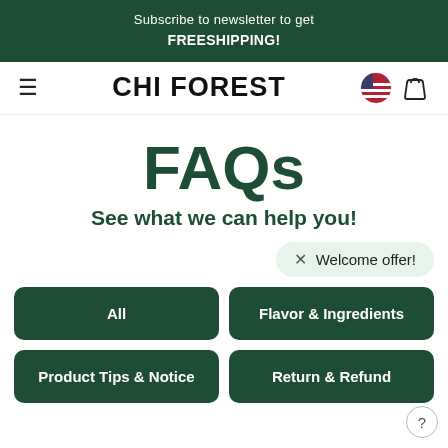Subscribe to newsletter to get FREESHIPPING!
CHI FOREST
FAQs
See what we can help you!
× Welcome offer!
All
Flavor & Ingredients
Product Tips & Notice
Return & Refund